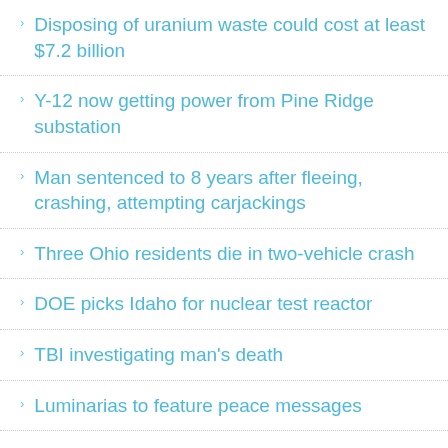Disposing of uranium waste could cost at least $7.2 billion
Y-12 now getting power from Pine Ridge substation
Man sentenced to 8 years after fleeing, crashing, attempting carjackings
Three Ohio residents die in two-vehicle crash
DOE picks Idaho for nuclear test reactor
TBI investigating man's death
Luminarias to feature peace messages
Oak Ridge tennis court dance is Thursday